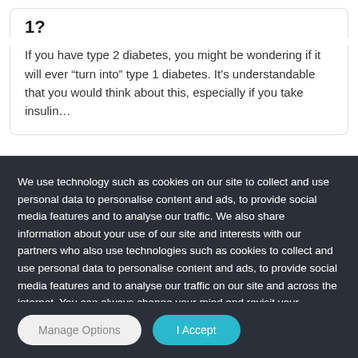1?
If you have type 2 diabetes, you might be wondering if it will ever “turn into” type 1 diabetes. It’s understandable that you would think about this, especially if you take insulin…
We use technology such as cookies on our site to collect and use personal data to personalise content and ads, to provide social media features and to analyse our traffic. We also share information about your use of our site and interests with our partners who also use technologies such as cookies to collect and use personal data to personalise content and ads, to provide social media features and to analyse our traffic on our site and across the internet. You can always change your mind and revisit your choices.